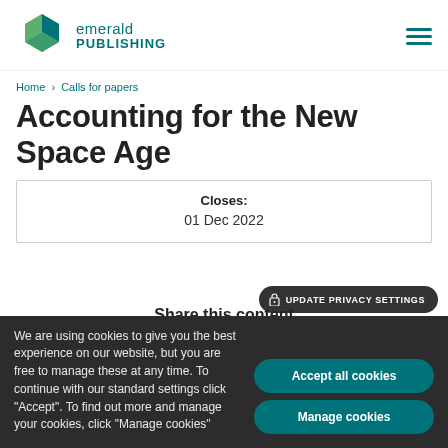Emerald Publishing
Home › Calls for papers
Accounting for the New Space Age
| Closes: |
| --- |
| 01 Dec 2022 |
UPDATE PRIVACY SETTINGS
Share this content
We are using cookies to give you the best experience on our website, but you are free to manage these at any time. To continue with our standard settings click "Accept". To find out more and manage your cookies, click "Manage cookies"
Accept all cookies
Manage cookies